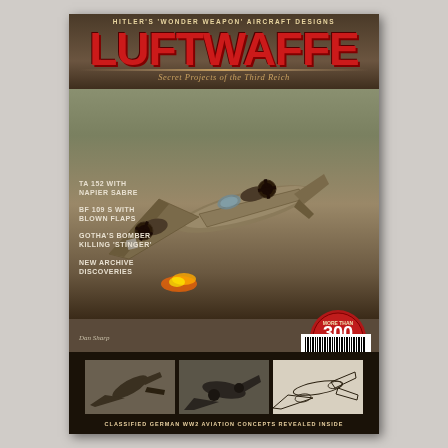LUFTWAFFE
HITLER'S 'WONDER WEAPON' AIRCRAFT DESIGNS
Secret Projects of the Third Reich
TA 152 WITH NAPIER SABRE
BF 109 S WITH BLOWN FLAPS
GOTHA'S BOMBER KILLING 'STINGER'
NEW ARCHIVE DISCOVERIES
Dan Sharp
[Figure (illustration): 3D rendered model of a WWII German Luftwaffe aircraft (large multi-engine bomber) flying low over terrain with fire/explosion effects below]
[Figure (infographic): Red circular badge reading 'MORE THAN 300 RARE DRAWINGS AND PHOTOS']
[Figure (photo): Small thumbnail photo of a WWII German aircraft]
[Figure (photo): Small thumbnail photo of a WWII German aircraft from below]
[Figure (illustration): Small thumbnail line drawing of a WWII German aircraft]
CLASSIFIED GERMAN WW2 AVIATION CONCEPTS REVEALED INSIDE